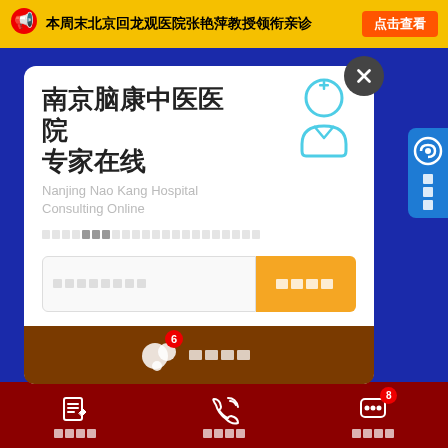[Figure (screenshot): Top yellow banner with megaphone icon, Chinese text '本周末北京回龙观医院张艳萍教授领衔亲诊' and orange button '点击查看']
[Figure (screenshot): Medical consultation popup modal on blue background. Shows '南京脑康中医医院 专家在线' (Nanjing Nao Kang Hospital Consulting Online) with doctor icon, input field, orange submit button, and brown chat bar. Right side has blue phone tab. Bottom has dark red navigation bar with three icon buttons.]